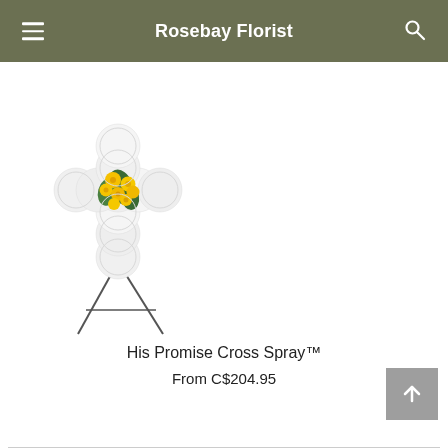Rosebay Florist
[Figure (photo): A floral cross arrangement made of white chrysanthemums with yellow roses accent, displayed on a metal easel stand against a white background.]
His Promise Cross Spray™
From C$204.95